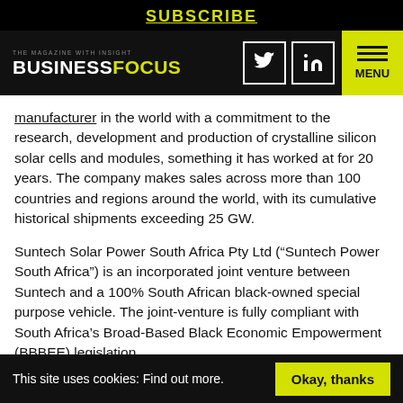SUBSCRIBE
[Figure (screenshot): Business Focus magazine navigation bar with logo, Twitter and LinkedIn social icons, and yellow MENU button]
manufacturer in the world with a commitment to the research, development and production of crystalline silicon solar cells and modules, something it has worked at for 20 years. The company makes sales across more than 100 countries and regions around the world, with its cumulative historical shipments exceeding 25 GW.
Suntech Solar Power South Africa Pty Ltd (“Suntech Power South Africa”) is an incorporated joint venture between Suntech and a 100% South African black-owned special purpose vehicle. The joint-venture is fully compliant with South Africa’s Broad-Based Black Economic Empowerment (BBBEE) legislation.
This site uses cookies: Find out more. Okay, thanks